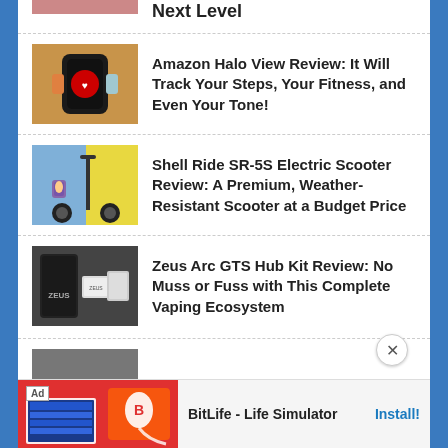Next Level
[Figure (photo): Amazon Halo View fitness tracker on wrist]
Amazon Halo View Review: It Will Track Your Steps, Your Fitness, and Even Your Tone!
[Figure (photo): Person sitting next to Shell Ride SR-5S electric scooter against yellow wall]
Shell Ride SR-5S Electric Scooter Review: A Premium, Weather-Resistant Scooter at a Budget Price
[Figure (photo): Zeus Arc GTS Hub Kit vaping device with packaging]
Zeus Arc GTS Hub Kit Review: No Muss or Fuss with This Complete Vaping Ecosystem
[Figure (photo): BitLife - Life Simulator advertisement banner]
BitLife - Life Simulator
Install!